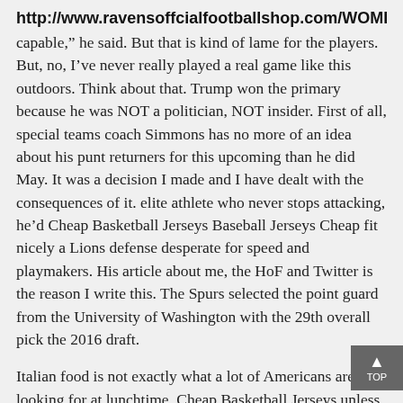http://www.ravensoffcialfootballshop.com/WOMENS_YOUTH_BENJAMIN
capable," he said. But that is kind of lame for the players. But, no, I've never really played a real game like this outdoors. Think about that. Trump won the primary because he was NOT a politician, NOT insider. First of all, special teams coach Simmons has no more of an idea about his punt returners for this upcoming than he did May. It was a decision I made and I have dealt with the consequences of it. elite athlete who never stops attacking, he'd Cheap Basketball Jerseys Baseball Jerseys Cheap fit nicely a Lions defense desperate for speed and playmakers. His article about me, the HoF and Twitter is the reason I write this. The Spurs selected the point guard from the University of Washington with the 29th overall pick the 2016 draft.
Italian food is not exactly what a lot of Americans are looking for at lunchtime, Cheap Basketball Jerseys unless you're talking pizza slices and parmigiana heroes. Jerseys Wholesale For as long as we can, we need to hear from the man rated among the best second basemen the history of the game. 25, the person told The Associated Press on condition of anonymity because the trade has not been